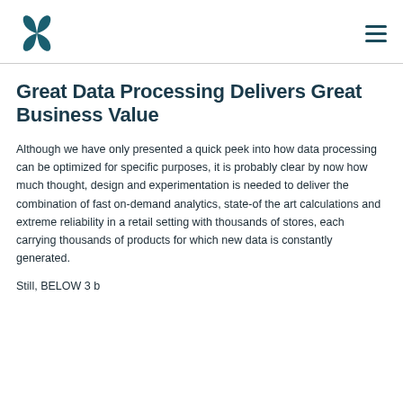[Logo] [Hamburger menu]
Great Data Processing Delivers Great Business Value
Although we have only presented a quick peek into how data processing can be optimized for specific purposes, it is probably clear by now how much thought, design and experimentation is needed to deliver the combination of fast on-demand analytics, state-of the art calculations and extreme reliability in a retail setting with thousands of stores, each carrying thousands of products for which new data is constantly generated.
Still, BELOW 3 b...